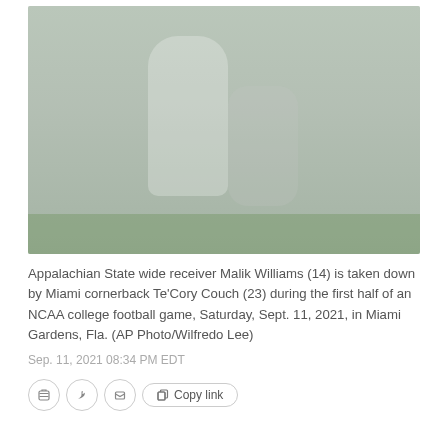[Figure (photo): Faded/watermarked photo of a football game: Appalachian State wide receiver Malik Williams (14) being tackled by Miami cornerback Te'Cory Couch (23) on a green field. Players in white and green uniforms visible.]
Appalachian State wide receiver Malik Williams (14) is taken down by Miami cornerback Te'Cory Couch (23) during the first half of an NCAA college football game, Saturday, Sept. 11, 2021, in Miami Gardens, Fla. (AP Photo/Wilfredo Lee)
Sep. 11, 2021 08:34 PM EDT